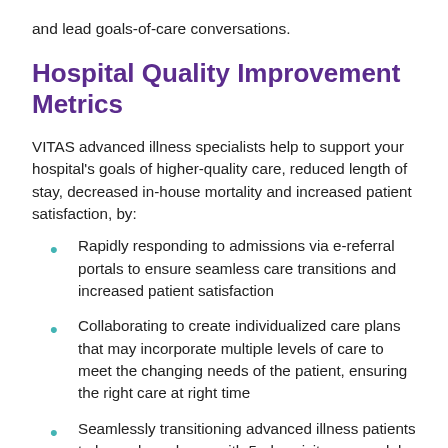and lead goals-of-care conversations.
Hospital Quality Improvement Metrics
VITAS advanced illness specialists help to support your hospital's goals of higher-quality care, reduced length of stay, decreased in-house mortality and increased patient satisfaction, by:
Rapidly responding to admissions via e-referral portals to ensure seamless care transitions and increased patient satisfaction
Collaborating to create individualized care plans that may incorporate multiple levels of care to meet the changing needs of the patient, ensuring the right care at right time
Seamlessly transitioning advanced illness patients to home-based care with 5-plus visits per week by our